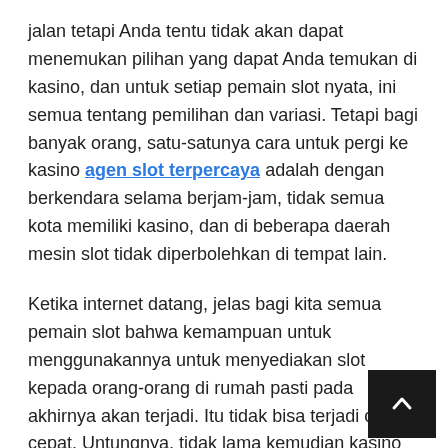jalan tetapi Anda tentu tidak akan dapat menemukan pilihan yang dapat Anda temukan di kasino, dan untuk setiap pemain slot nyata, ini semua tentang pemilihan dan variasi. Tetapi bagi banyak orang, satu-satunya cara untuk pergi ke kasino agen slot terpercaya adalah dengan berkendara selama berjam-jam, tidak semua kota memiliki kasino, dan di beberapa daerah mesin slot tidak diperbolehkan di tempat lain.
Ketika internet datang, jelas bagi kita semua pemain slot bahwa kemampuan untuk menggunakannya untuk menyediakan slot kepada orang-orang di rumah pasti pada akhirnya akan terjadi. Itu tidak bisa terjadi cukup cepat. Untungnya, tidak lama kemudian kasino online pertama mulai muncul, dan penggemar slot dapat memutar gulungan tepat di depan komputer mereka.
Revolusi slot online ini mengubah dunia slot dalam beberapa cara utama. Pertama, orang menyimpan banyak uang. Tidak harus masuk ke mobil dan pergi ke kasino berarti pemain slot